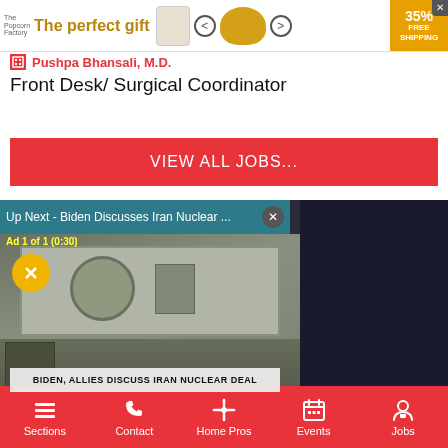[Figure (screenshot): Advertisement banner: 'The perfect gift' with bowl of popcorn image, navigation arrows, and '35% FREE SHIPPING' badge]
Pushpa Bhansali, M.D.
Front Desk/ Surgical Coordinator
VIEW ALL JOBS...
[Figure (screenshot): Video player showing 'Up Next - Biden Discusses Iran Nuclear ...' with lower third caption 'BIDEN, ALLIES DISCUSS IRAN NUCLEAR DEAL', ad indicator 'Ad 1 of 1 (0:30)', mute button, and machinery/industrial equipment still frame]
Sections  Contact  Home Pros  Events  Jobs